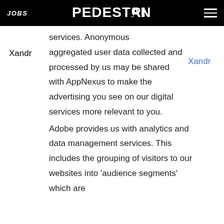JOBS | PEDESTRIAN | [menu]
services. Anonymous aggregated user data collected and processed by us may be shared with AppNexus to make the advertising you see on our digital services more relevant to you.
Xandr
Xandr
Adobe provides us with analytics and data management services. This includes the grouping of visitors to our websites into 'audience segments' which are